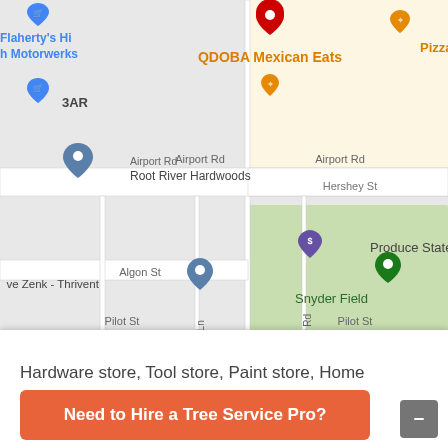[Figure (map): Google Maps screenshot showing streets including Airport Rd, Algon St, Pilot St, Rowe Ln, Windsor Rd, Hershey St. Business markers include QDOBA Mexican Eats (red pin), Pizza Ra... (orange marker, top right), Root River Hardwoods (gray pin), Produce State Bank (purple pin), Snyder Field (green pin), Steve Zenk - Thrivent (gray pin), Jenson Auto Body (gray pin), Flaherty's Hi h Motorwerks (blue marker), SAR (blue marker), ils ca (blue marker). Green area labeled Snyder Par... and Food Service & C...]
Hardware store, Tool store, Paint store, Home improvement store
Need to Hire a Tree Service Pro?